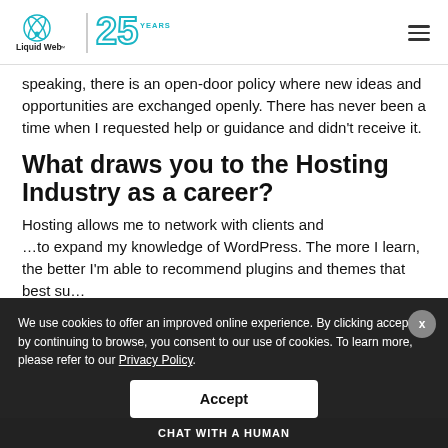Liquid Web 25 Years
speaking, there is an open-door policy where new ideas and opportunities are exchanged openly. There has never been a time when I requested help or guidance and didn't receive it.
What draws you to the Hosting Industry as a career?
Hosting allows me to network with clients and … to expand my knowledge of WordPress. The more I learn, the better I'm able to recommend plugins and themes that best su…
We use cookies to offer an improved online experience. By clicking accept or by continuing to browse, you consent to our use of cookies. To learn more, please refer to our Privacy Policy.
Accept
CHAT WITH A HUMAN